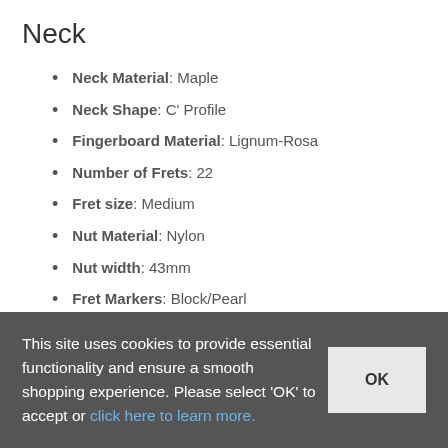Neck
Neck Material: Maple
Neck Shape: C' Profile
Fingerboard Material: Lignum-Rosa
Number of Frets: 22
Fret size: Medium
Nut Material: Nylon
Nut width: 43mm
Fret Markers: Block/Pearl
Please note : A left handed version of this guitar is available. Please contact us for details. International
This site uses cookies to provide essential functionality and ensure a smooth shopping experience. Please select 'OK' to accept or click here to learn more.